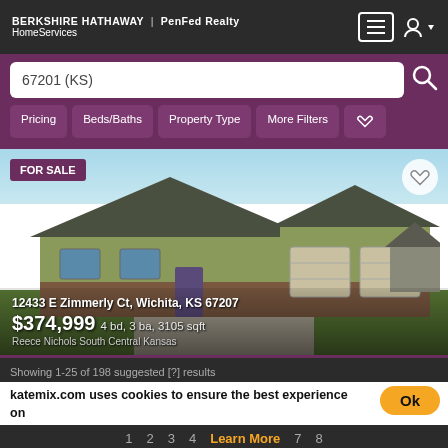BERKSHIRE HATHAWAY | PenFed Realty HomeServices
67201 (KS)
Pricing
Beds/Baths
Property Type
More Filters
[Figure (photo): FOR SALE listing photo of a house at 12433 E Zimmerly Ct, Wichita, KS 67207. Ranch-style home with green siding, brick accents, and a three-car garage.]
12433 E Zimmerly Ct, Wichita, KS 67207
$374,999 4 bd, 3 ba, 3105 sqft
Reece Nichols South Central Kansas
Showing 1-25 of 198 suggested [?] results
katemix.com uses cookies to ensure the best experience on
Learn More
1  2  3  4  Learn More  7  8